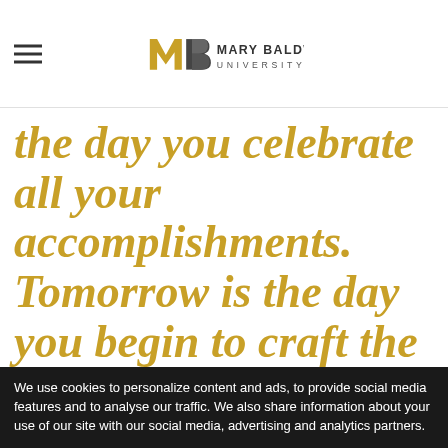Mary Baldwin University
the day you celebrate all your accomplishments. Tomorrow is the day you begin to craft the person that you want to become in the
We use cookies to personalize content and ads, to provide social media features and to analyse our traffic. We also share information about your use of our site with our social media, advertising and analytics partners.